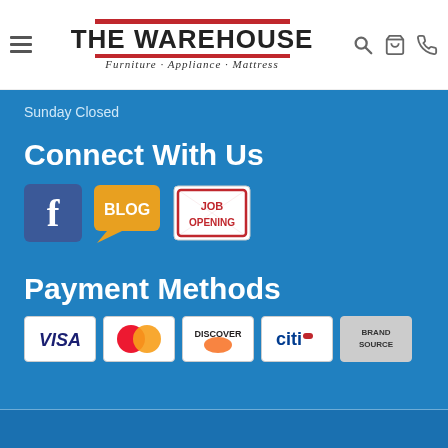[Figure (logo): The Warehouse Furniture Appliance Mattress logo with red bars and hamburger menu icon, search, cart, and phone icons]
Sunday Closed
Connect With Us
[Figure (infographic): Social media icons: Facebook logo, Blog speech bubble icon, Job Opening stamp icon]
Payment Methods
[Figure (infographic): Payment method icons: Visa, MasterCard, Discover, Citi, Brand Source]